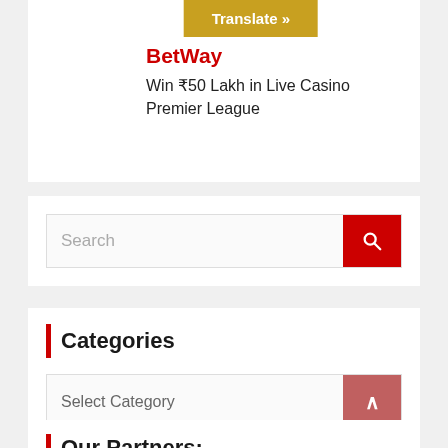[Figure (screenshot): Translate button in gold/yellow color]
BetWay
Win ₹50 Lakh in Live Casino Premier League
[Figure (screenshot): Search bar with red search button]
Categories
[Figure (screenshot): Select Category dropdown with chevron button]
Our Partners: